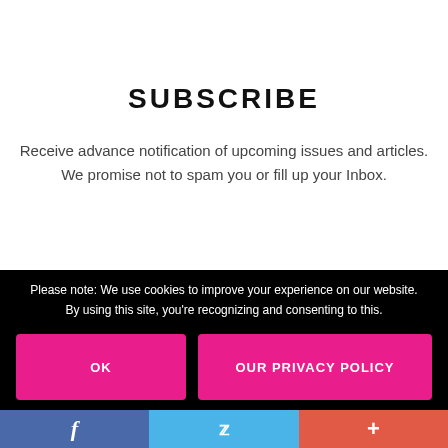SUBSCRIBE
Receive advance notification of upcoming issues and articles. We promise not to spam you or fill up your Inbox.
Please note: We use cookies to improve your experience on our website. By using this site, you're recognizing and consenting to this.
OK
OUR PRIVACY POLICY
f  Twitter  +